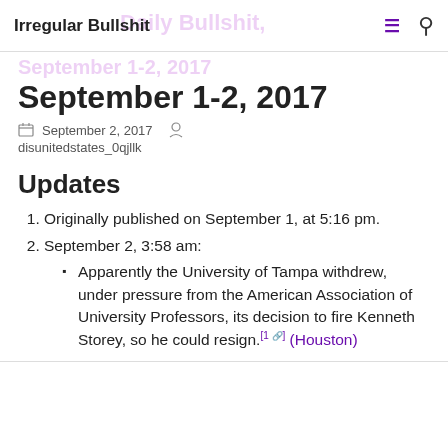Irregular Bullshit
September 1-2, 2017
September 2, 2017  disunitedstates_0qjllk
Updates
Originally published on September 1, at 5:16 pm.
September 2, 3:58 am:
Apparently the University of Tampa withdrew, under pressure from the American Association of University Professors, its decision to fire Kenneth Storey, so he could resign.[1] (Houston)